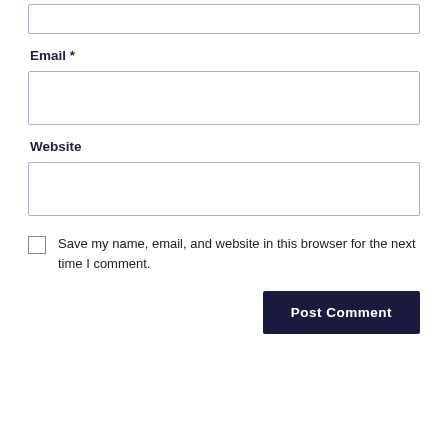[Figure (other): Text input box (partially visible at top of page)]
Email *
[Figure (other): Email text input field]
Website
[Figure (other): Website text input field]
Save my name, email, and website in this browser for the next time I comment.
Post Comment